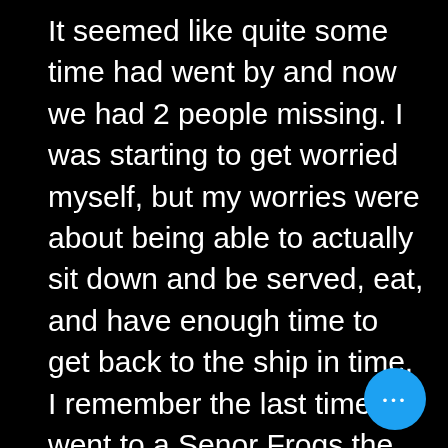It seemed like quite some time had went by and now we had 2 people missing. I was starting to get worried myself, but my worries were about being able to actually sit down and be served, eat, and have enough time to get back to the ship in time. I remember the last time we went to a Senor Frogs the wait was forever. If that happened again, it would make us late.
[Figure (other): A circular blue button with three white dots (ellipsis/more options button) positioned at the bottom right of the screen.]